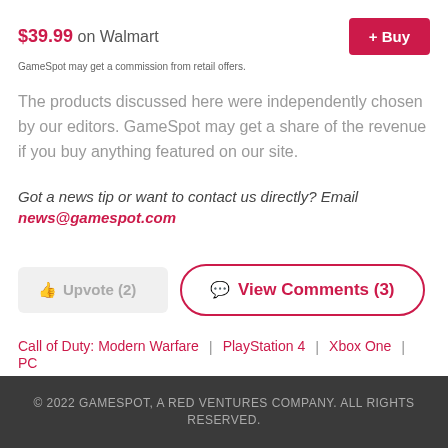$39.99 on Walmart
GameSpot may get a commission from retail offers.
The products discussed here were independently chosen by our editors. GameSpot may get a share of the revenue if you buy anything featured on our site.
Got a news tip or want to contact us directly? Email news@gamespot.com
Upvote (2)
View Comments (3)
Call of Duty: Modern Warfare | PlayStation 4 | Xbox One | PC
© 2022 GAMESPOT, A RED VENTURES COMPANY. ALL RIGHTS RESERVED.